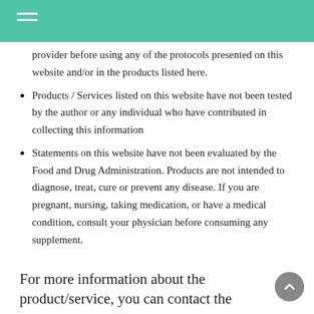provider before using any of the protocols presented on this website and/or in the products listed here.
Products / Services listed on this website have not been tested by the author or any individual who have contributed in collecting this information
Statements on this website have not been evaluated by the Food and Drug Administration. Products are not intended to diagnose, treat, cure or prevent any disease. If you are pregnant, nursing, taking medication, or have a medical condition, consult your physician before consuming any supplement.
For more information about the product/service, you can contact the